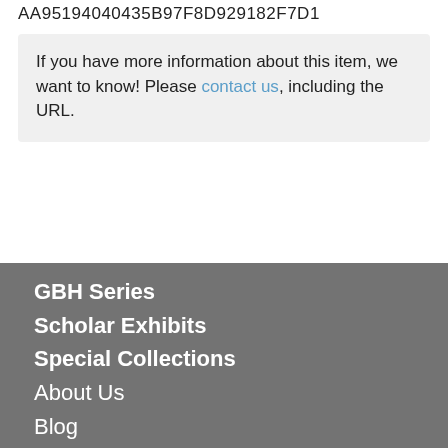AA95194040435B97F8D929182F7D1
If you have more information about this item, we want to know! Please contact us, including the URL.
GBH Series
Scholar Exhibits
Special Collections
About Us
Blog